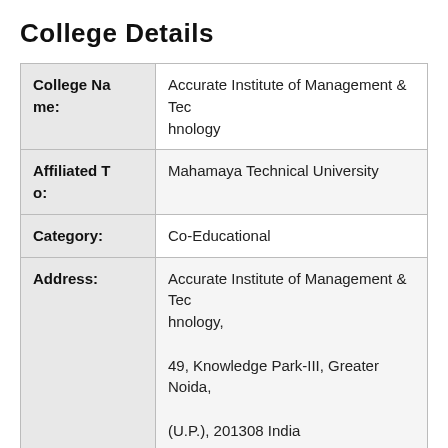College Details
| Field | Value |
| --- | --- |
| College Name: | Accurate Institute of Management & Technology |
| Affiliated To: | Mahamaya Technical University |
| Category: | Co-Educational |
| Address: | Accurate Institute of Management & Technology,
49, Knowledge Park-III, Greater Noida,
(U.P.), 201308 India |
| Phone: | 09711005981 |
| Email: | accuratein@gmail.com |
| Website: | http://www.accurate.in/... |